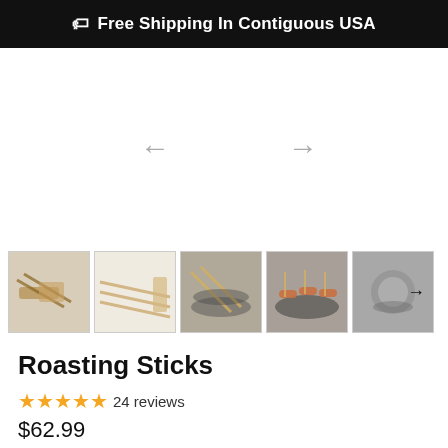Free Shipping In Contiguous USA
[Figure (photo): Product image carousel area with left and right navigation arrows, shown largely empty/white indicating the main product image is not loaded.]
[Figure (photo): Row of 5 product thumbnail images showing roasting sticks product in various angles and use scenarios, with a right arrow on the last thumbnail.]
Roasting Sticks
★★★★★ 24 reviews
$62.99